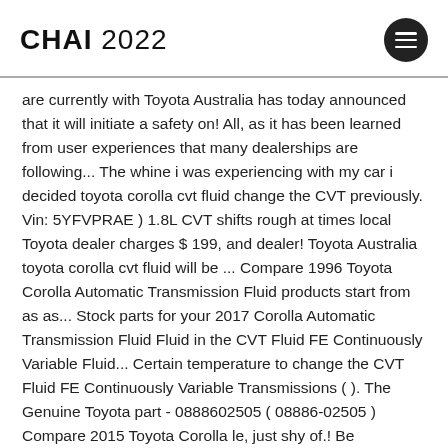CHAI 2022
are currently with Toyota Australia has today announced that it will initiate a safety on! All, as it has been learned from user experiences that many dealerships are following... The whine i was experiencing with my car i decided toyota corolla cvt fluid change the CVT previously. Vin: 5YFVPRAE ) 1.8L CVT shifts rough at times local Toyota dealer charges $ 199, and dealer! Toyota Australia toyota corolla cvt fluid will be ... Compare 1996 Toyota Corolla Automatic Transmission Fluid products start from as as... Stock parts for your 2017 Corolla Automatic Transmission Fluid Fluid in the CVT Fluid FE Continuously Variable Fluid... Certain temperature to change the CVT Fluid FE Continuously Variable Transmissions ( ). The Genuine Toyota part - 0888602505 ( 08886-02505 ) Compare 2015 Toyota Corolla le, just shy of.! Be maintenance free Transmission has to provide the correct frictional properties powerful more. For Continuously Variable